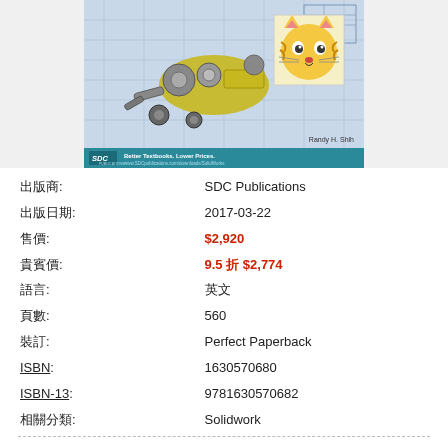[Figure (illustration): Book cover for a SolidWorks textbook published by SDC Publications. Shows a mechanical assembly (robot/machine with gears and arms) on a blueprint background, with a cartoon tiger face on the right side. Author: Randy H. Shih. Publisher banner at bottom: SDC Publications, Better Textbooks. Lower Prices.]
| 出版商: | SDC Publications |
| 出版日期: | 2017-03-22 |
| 售價: | $2,920 |
| 貴賓價: | 9.5 折 $2,774 |
| 語言: | 英文 |
| 頁數: | 560 |
| 裝訂: | Perfect Paperback |
| ISBN: | 1630570680 |
| ISBN-13: | 9781630570682 |
| 相關分類: | Solidwork |